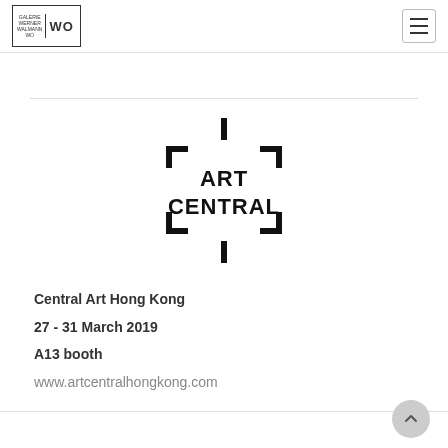Galerie Werner Walmann | WO
[Figure (logo): Art Central logo with bracket-style crosshair marks around the text ART CENTRAL]
Central Art Hong Kong
27 - 31 March 2019
A13 booth
www.artcentralhongkong.com